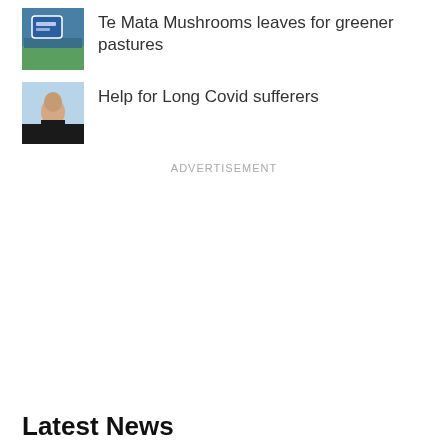[Figure (photo): Thumbnail photo of Te Mata Mushrooms outdoor signage with blue background]
Te Mata Mushrooms leaves for greener pastures
[Figure (photo): Thumbnail photo of a woman looking upward, black jacket, light blue sky background]
Help for Long Covid sufferers
ADVERTISEMENT
Latest News